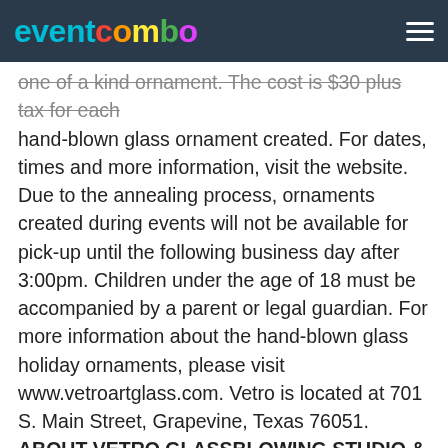eventcombo
one of a kind ornament. The cost is $30 plus tax for each hand-blown glass ornament created. For dates, times and more information, visit the website. Due to the annealing process, ornaments created during events will not be available for pick-up until the following business day after 3:00pm. Children under the age of 18 must be accompanied by a parent or legal guardian. For more information about the hand-blown glass holiday ornaments, please visit www.vetroartglass.com. Vetro is located at 701 S. Main Street, Grapevine, Texas 76051. ABOUT VETRO GLASSBLOWING STUDIO & GALLERY Centrally located between Fort Worth and Dallas, Vetro Glassblowing Studio and Gallery is a focal point of the historic downtown district of Grapevine. Vetro exhibits a gallery of fine art glass, including founder David Gappa